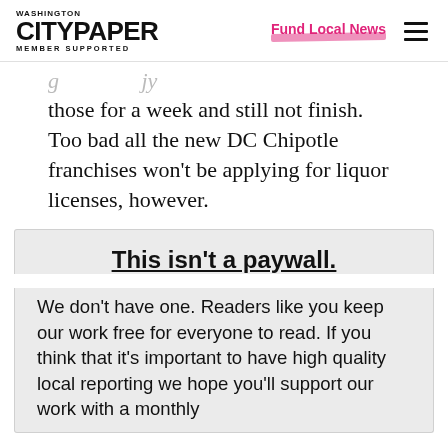WASHINGTON CITYPAPER MEMBER SUPPORTED | Fund Local News
those for a week and still not finish.  Too bad all the new DC Chipotle franchises won't be applying for liquor licenses, however.
This isn't a paywall.
We don't have one. Readers like you keep our work free for everyone to read. If you think that it's important to have high quality local reporting we hope you'll support our work with a monthly